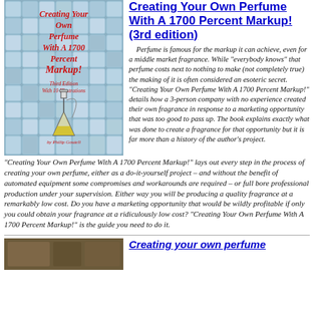[Figure (photo): Book cover of 'Creating Your Own Perfume With A 1700 Percent Markup!' Third Edition with 10 Illustrations by Philip Goutell, showing a conical flask with yellow liquid against a background of glass tiles]
Creating Your Own Perfume With A 1700 Percent Markup! (3rd edition)
Perfume is famous for the markup it can achieve, even for a middle market fragrance. While "everybody knows" that perfume costs next to nothing to make (not completely true) the making of it is often considered an esoteric secret. "Creating Your Own Perfume With A 1700 Percent Markup!" details how a 3-person company with no experience created their own fragrance in response to a marketing opportunity that was too good to pass up. The book explains exactly what was done to create a fragrance for that opportunity but it is far more than a history of the author's project. "Creating Your Own Perfume With A 1700 Percent Markup!" lays out every step in the process of creating your own perfume, either as a do-it-yourself project – and without the benefit of automated equipment some compromises and workarounds are required – or full bore professional production under your supervision. Either way you will be producing a quality fragrance at a remarkably low cost. Do you have a marketing opportunity that would be wildly profitable if only you could obtain your fragrance at a ridiculously low cost? "Creating Your Own Perfume With A 1700 Percent Markup!" is the guide you need to do it.
[Figure (photo): Small thumbnail image of another book cover with brown/earthy tones]
Creating your own perfume